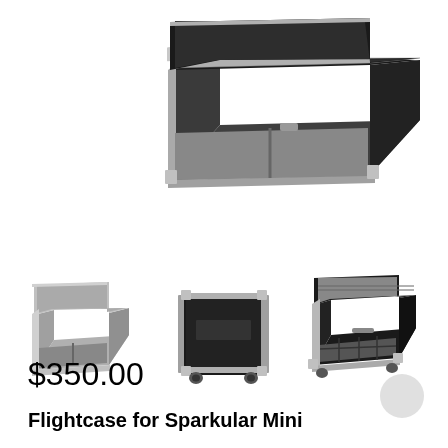[Figure (photo): Main product photo: an open black flight case with silver metal edging and interior compartments, viewed from an angle, partially cropped at top]
[Figure (photo): Thumbnail 1: open silver/grey flight case with two interior compartments, viewed from front-left angle]
[Figure (photo): Thumbnail 2: closed black flight case on caster wheels, front view]
[Figure (photo): Thumbnail 3: open black flight case with multiple interior dividers/compartments and foam-lined lid, viewed from front-left angle]
$350.00
Flightcase for Sparkular Mini